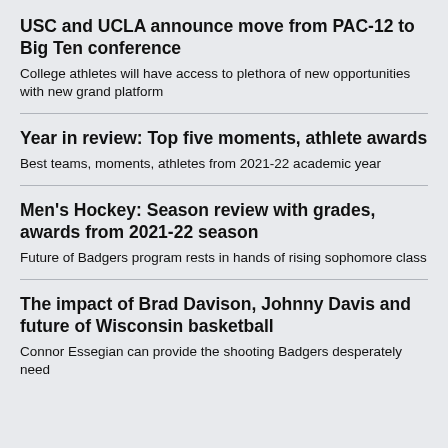USC and UCLA announce move from PAC-12 to Big Ten conference
College athletes will have access to plethora of new opportunities with new grand platform
Year in review: Top five moments, athlete awards
Best teams, moments, athletes from 2021-22 academic year
Men's Hockey: Season review with grades, awards from 2021-22 season
Future of Badgers program rests in hands of rising sophomore class
The impact of Brad Davison, Johnny Davis and future of Wisconsin basketball
Connor Essegian can provide the shooting Badgers desperately need